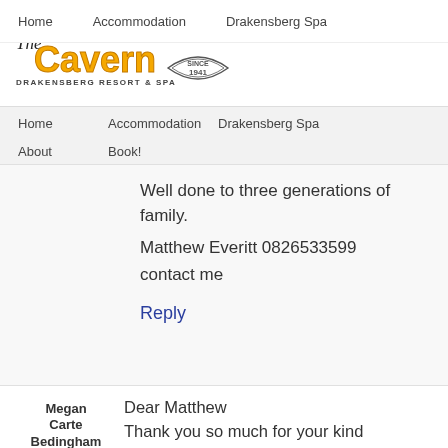Home  Accommodation  Drakensberg Spa
[Figure (logo): The Cavern Drakensberg Resort & Spa logo with 'Since 1941' badge]
Home  Accommodation  Drakensberg Spa  About  Book!
Well done to three generations of family.

Matthew Everitt 0826533599

contact me
Reply
Dear Matthew
Thank you so much for your kind response. These hills and valleys hold a million memories! Saturday night dances, spectacular horse...
Megan Carte Bedingham says:
6 November